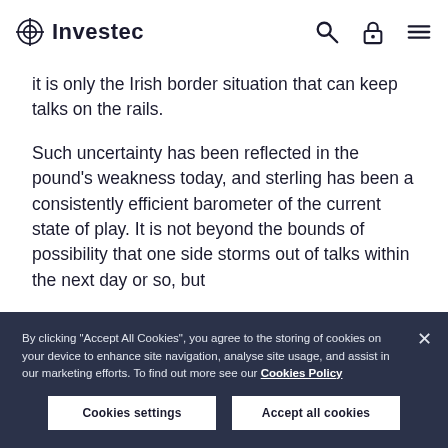Investec
it is only the Irish border situation that can keep talks on the rails.
Such uncertainty has been reflected in the pound's weakness today, and sterling has been a consistently efficient barometer of the current state of play. It is not beyond the bounds of possibility that one side storms out of talks within the next day or so, but
By clicking "Accept All Cookies", you agree to the storing of cookies on your device to enhance site navigation, analyse site usage, and assist in our marketing efforts. To find out more see our Cookies Policy
Cookies settings
Accept all cookies